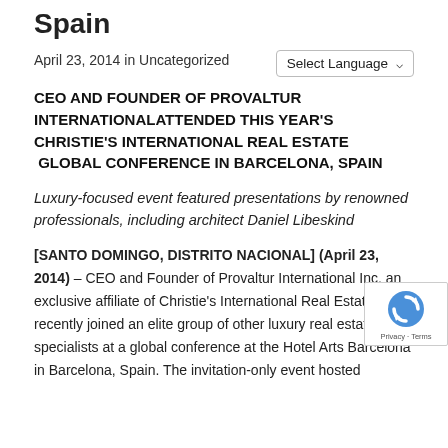Spain
April 23, 2014 in Uncategorized
CEO AND FOUNDER OF PROVALTUR INTERNATIONALATTENDED THIS YEAR'S CHRISTIE'S INTERNATIONAL REAL ESTATE  GLOBAL CONFERENCE IN BARCELONA, SPAIN
Luxury-focused event featured presentations by renowned professionals, including architect Daniel Libeskind
[SANTO DOMINGO, DISTRITO NACIONAL] (April 23, 2014) – CEO and Founder of Provaltur International Inc, an exclusive affiliate of Christie's International Real Estate, recently joined an elite group of other luxury real estate specialists at a global conference at the Hotel Arts Barcelona in Barcelona, Spain. The invitation-only event hosted